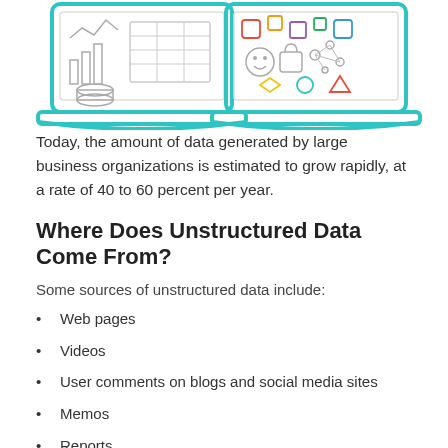[Figure (illustration): Two laptop computer illustrations side by side. Left laptop shows structured data (charts, tables, grid icons). Right laptop shows unstructured data (colorful icons: shapes, emoji, network, etc.). Both laptops rendered in teal/cyan outline style.]
Today, the amount of data generated by large business organizations is estimated to grow rapidly, at a rate of 40 to 60 percent per year.
Where Does Unstructured Data Come From?
Some sources of unstructured data include:
Web pages
Videos
User comments on blogs and social media sites
Memos
Reports